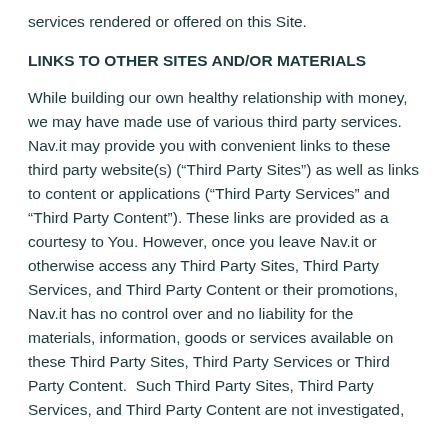services rendered or offered on this Site.
LINKS TO OTHER SITES AND/OR MATERIALS
While building our own healthy relationship with money, we may have made use of various third party services. Nav.it may provide you with convenient links to these third party website(s) (“Third Party Sites”) as well as links to content or applications (“Third Party Services” and “Third Party Content”). These links are provided as a courtesy to You. However, once you leave Nav.it or otherwise access any Third Party Sites, Third Party Services, and Third Party Content or their promotions, Nav.it has no control over and no liability for the materials, information, goods or services available on these Third Party Sites, Third Party Services or Third Party Content.  Such Third Party Sites, Third Party Services, and Third Party Content are not investigated,